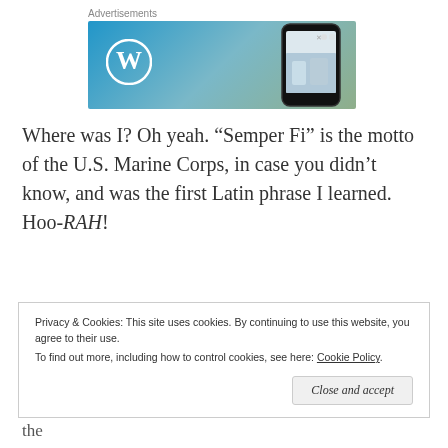[Figure (screenshot): WordPress advertisement banner with blue-green gradient background, WordPress logo circle on left and phone mockup on right]
Where was I? Oh yeah. “Semper Fi” is the motto of the U.S. Marine Corps, in case you didn’t know, and was the first Latin phrase I learned. Hoo-RAH!
Privacy & Cookies: This site uses cookies. By continuing to use this website, you agree to their use.
To find out more, including how to control cookies, see here: Cookie Policy
Close and accept
Battle of Milvian Bridge in 312, the Greek equivalent of the